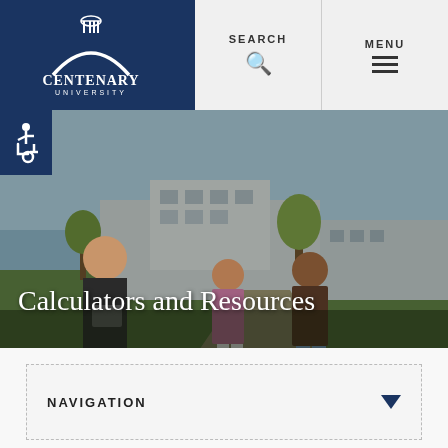[Figure (logo): Centenary University logo — white arch/dome icon above curved text CENTENARY UNIVERSITY on dark navy background]
SEARCH
MENU
[Figure (photo): Three students walking outside a university campus building on a sunny day. A woman in front carries a tablet, two students behind her converse.]
Calculators and Resources
NAVIGATION